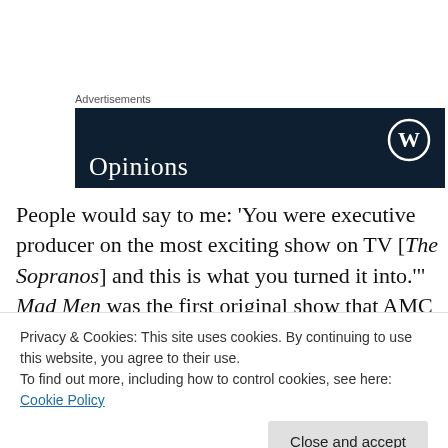Advertisements
[Figure (screenshot): WordPress.com Opinions advertisement banner — dark navy background with WordPress logo (W in circle) top right and 'Opinions' text in white serif font at bottom left.]
People would say to me: 'You were executive producer on the most exciting show on TV [The Sopranos] and this is what you turned it into.'’ Mad Men was the first original show that AMC picked up, and the network tried to coax
Privacy & Cookies: This site uses cookies. By continuing to use this website, you agree to their use.
To find out more, including how to control cookies, see here: Cookie Policy
Close and accept
which it was — and signed on for the series. Which is how